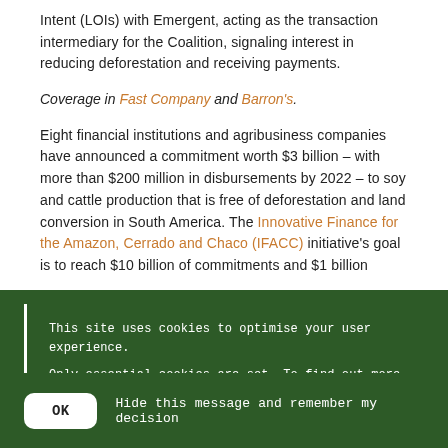Intent (LOIs) with Emergent, acting as the transaction intermediary for the Coalition, signaling interest in reducing deforestation and receiving payments.
Coverage in Fast Company and Barron's.
Eight financial institutions and agribusiness companies have announced a commitment worth $3 billion – with more than $200 million in disbursements by 2022 – to soy and cattle production that is free of deforestation and land conversion in South America. The Innovative Finance for the Amazon, Cerrado and Chaco (IFACC) initiative's goal is to reach $10 billion of commitments and $1 billion
This site uses cookies to optimise your user experience.
Only essential cookies are set. To find out more, including how to opt out, please visit the Cookies page.
OK  Hide this message and remember my decision